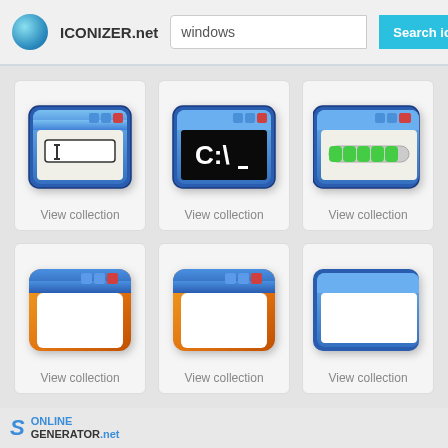ICONIZER.net | Search: windows | Search icons button
[Figure (screenshot): Windows-style app icon with text input field and cursor, blue frame with colored title bar buttons]
View collection
[Figure (screenshot): Windows-style command prompt icon showing C:\_ on black background, blue frame]
View collection
[Figure (screenshot): Windows-style icon showing a green progress bar, blue frame, partially cropped]
View collection
[Figure (screenshot): Windows-style app icon with orange and blue gradient frame, empty white content area]
View collection
[Figure (screenshot): Windows-style app icon with orange and blue gradient frame, empty white content area, second variant]
View collection
[Figure (screenshot): Windows-style app icon with blue frame, partially cropped on right edge]
View collection
ONLINE GENERATOR.net